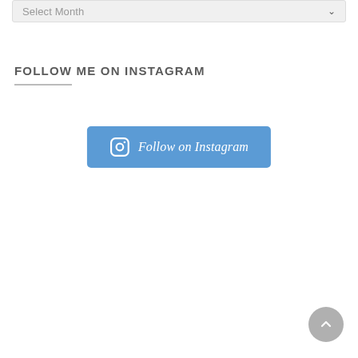Select Month
FOLLOW ME ON INSTAGRAM
[Figure (other): Blue rounded rectangle button with Instagram camera icon and text 'Follow on Instagram']
[Figure (other): Gray circular back-to-top button with upward chevron arrow]